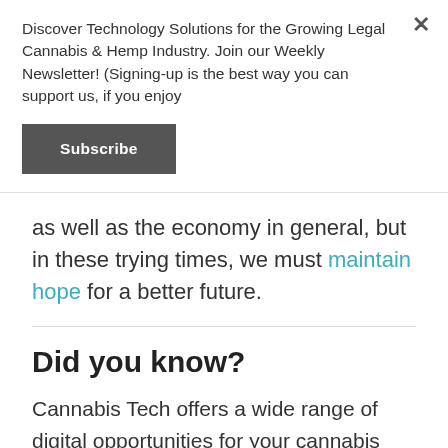Discover Technology Solutions for the Growing Legal Cannabis & Hemp Industry. Join our Weekly Newsletter! (Signing-up is the best way you can support us, if you enjoy
Subscribe
as well as the economy in general, but in these trying times, we must maintain hope for a better future.
Did you know?
Cannabis Tech offers a wide range of digital opportunities for your cannabis business. If you've missed out on participating at a conference or a public event, talk to our staff to set your own webcast, be your own keynote speaker, and generate well-